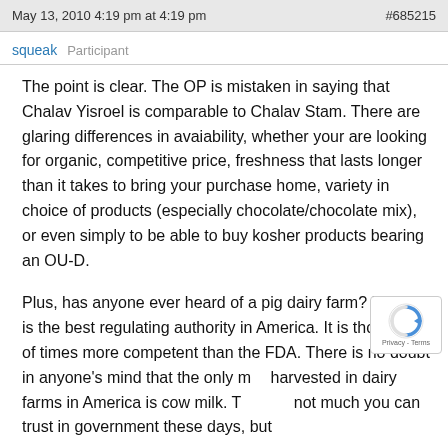May 13, 2010 4:19 pm at 4:19 pm   #685215
squeak   Participant
The point is clear. The OP is mistaken in saying that Chalav Yisroel is comparable to Chalav Stam. There are glaring differences in avaiability, whether your are looking for organic, competitive price, freshness that lasts longer than it takes to bring your purchase home, variety in choice of products (especially chocolate/chocolate mix), or even simply to be able to buy kosher products bearing an OU-D.

Plus, has anyone ever heard of a pig dairy farm? USDA is the best regulating authority in America. It is thousands of times more competent than the FDA. There is no doubt in anyone's mind that the only milk harvested in dairy farms in America is cow milk. There is not much you can trust in government these days, but